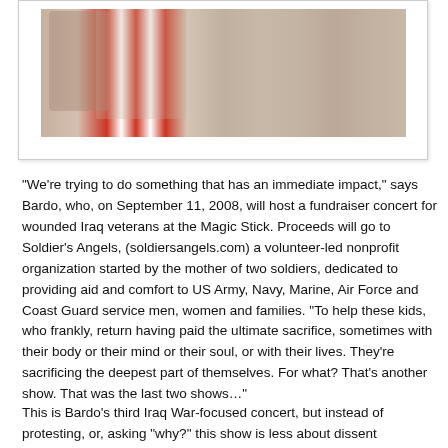[Figure (photo): A photograph showing shirtless people with tattoos wearing American flag-patterned clothing, cropped at the top of the page inside a white frame/polaroid-style border.]
"We're trying to do something that has an immediate impact," says Bardo, who, on September 11, 2008, will host a fundraiser concert for wounded Iraq veterans at the Magic Stick. Proceeds will go to Soldier's Angels, (soldiersangels.com) a volunteer-led nonprofit organization started by the mother of two soldiers, dedicated to providing aid and comfort to US Army, Navy, Marine, Air Force and Coast Guard service men, women and families. "To help these kids, who frankly, return having paid the ultimate sacrifice, sometimes with their body or their mind or their soul, or with their lives. They're sacrificing the deepest part of themselves. For what? That's another show. That was the last two shows…"
This is Bardo's third Iraq War-focused concert, but instead of protesting, or, asking "why?" this show is less about dissent